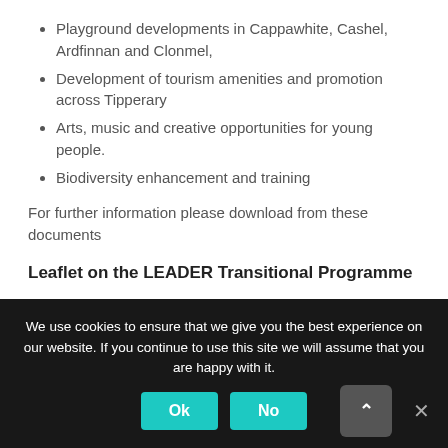Playground developments in Cappawhite, Cashel, Ardfinnan and Clonmel,
Development of tourism amenities and promotion across Tipperary
Arts, music and creative opportunities for young people.
Biodiversity enhancement and training
For further information please download from these documents
Leaflet on the LEADER Transitional Programme
[Figure (other): Download button with light blue/teal background and border]
Leader Application Form
We use cookies to ensure that we give you the best experience on our website. If you continue to use this site we will assume that you are happy with it.